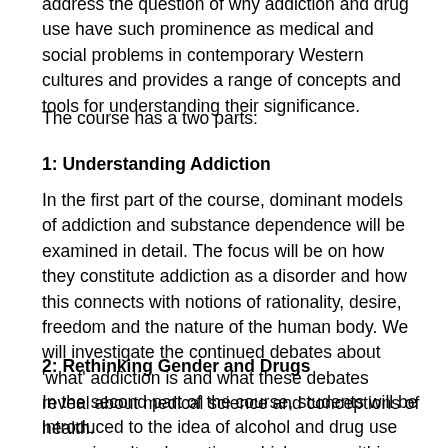address the question of why addiction and drug use have such prominence as medical and social problems in contemporary Western cultures and provides a range of concepts and tools for understanding their significance.
The course has a two parts:
1: Understanding Addiction
In the first part of the course, dominant models of addiction and substance dependence will be examined in detail. The focus will be on how they constitute addiction as a disorder and how this connects with notions of rationality, desire, freedom and the nature of the human body. We will investigate the continued debates about 'what' addiction is and what these debates reveal about medical science and conceptions of health.
2: Rethinking Gender and Drugs
In the second part of the course, students will be introduced to the idea of alcohol and drug use as socio-cultural practices which occur within specific social